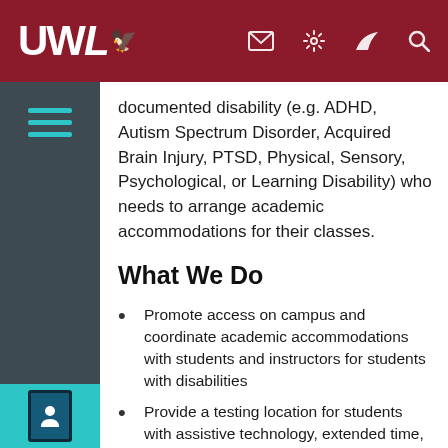[Figure (logo): UWL university logo with stylized eagle/bird icon in white on dark red navbar]
UWL navigation bar with mail, settings, wingmark, and search icons
documented disability (e.g. ADHD, Autism Spectrum Disorder, Acquired Brain Injury, PTSD, Physical, Sensory, Psychological, or Learning Disability) who needs to arrange academic accommodations for their classes.
What We Do
Promote access on campus and coordinate academic accommodations with students and instructors for students with disabilities
Provide a testing location for students with assistive technology, extended time, and/or reduced distraction accommodations based on individual needs